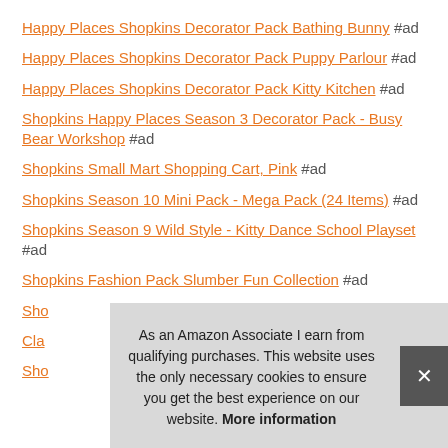Happy Places Shopkins Decorator Pack Bathing Bunny #ad
Happy Places Shopkins Decorator Pack Puppy Parlour #ad
Happy Places Shopkins Decorator Pack Kitty Kitchen #ad
Shopkins Happy Places Season 3 Decorator Pack - Busy Bear Workshop #ad
Shopkins Small Mart Shopping Cart, Pink #ad
Shopkins Season 10 Mini Pack - Mega Pack (24 Items) #ad
Shopkins Season 9 Wild Style - Kitty Dance School Playset #ad
Shopkins Fashion Pack Slumber Fun Collection #ad
Sho... Cla... Sho... (partially visible, obscured by cookie banner)
As an Amazon Associate I earn from qualifying purchases. This website uses the only necessary cookies to ensure you get the best experience on our website. More information